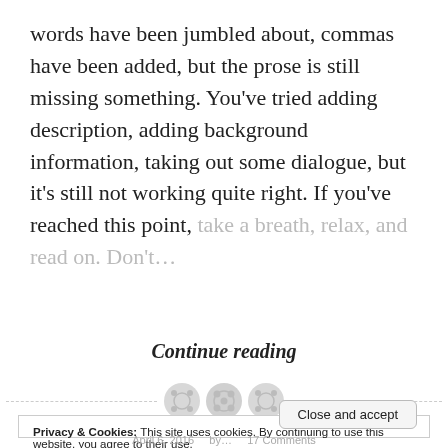words have been jumbled about, commas have been added, but the prose is still missing something. You've tried adding description, adding background information, taking out some dialogue, but it's still not working quite right. If you've reached this point, take a breath, relax, and read on. Don't…
Continue reading
Privacy & Cookies: This site uses cookies. By continuing to use this website, you agree to their use.
To find out more, including how to control cookies, see here: Cookie Policy
April 6, 2016    by…    17 Comments